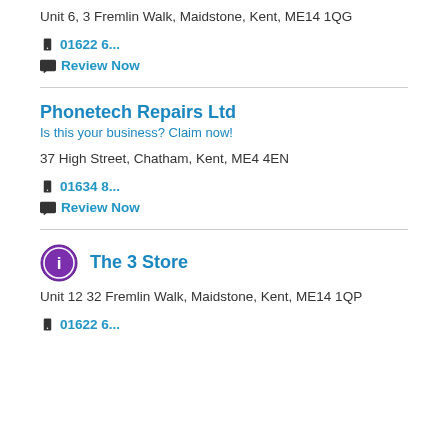Unit 6, 3 Fremlin Walk, Maidstone, Kent, ME14 1QG
01622 6...
Review Now
Phonetech Repairs Ltd
Is this your business? Claim now!
37 High Street, Chatham, Kent, ME4 4EN
01634 8...
Review Now
The 3 Store
Unit 12 32 Fremlin Walk, Maidstone, Kent, ME14 1QP
01622 6...